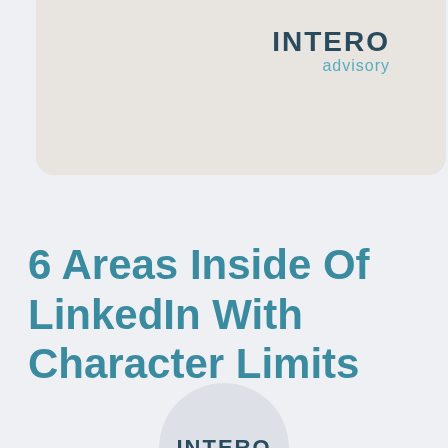[Figure (logo): Intero Advisory logo in top-right of a beige rounded-bottom banner. INTERO in dark navy bold uppercase, advisory in teal lowercase below.]
6 Areas Inside Of LinkedIn With Character Limits
[Figure (logo): Partial Intero Advisory circular logo at bottom center, showing INTERO text inside a grey circle, cropped at page bottom.]